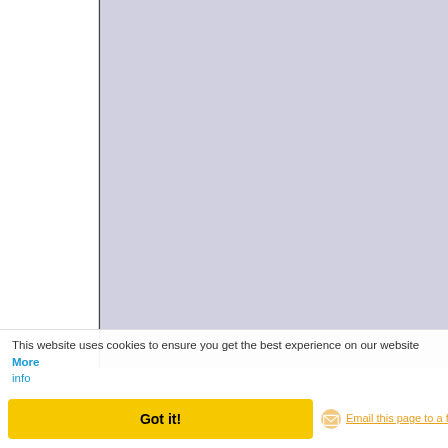[Figure (illustration): Light purple/lavender rectangular area representing a page image or illustration on the left side of the page]
spite of his sixty-eight years; he even
When he reached the house on the a work.
"Oh, by the way, Mr. Mathews," he sa woman, saying I never paid attention her, please, enclosing my check for tw very Merry Christmas in my name, wi let me see such letters as that one--o fancy perhaps I may have been too ri
"Certainly, sir," answered the bewilder excitedly for his note-book.
"I found the little dog," continued the p know that."
"You have found him?" cried the secre Carter? Where was he?"
"He was--detained--on Oak Street, I b have not got him back yet. I have left holidays."
He settled himself to his papers, for p twenty-fourth of December, but the se wonder what's happened?" he said to
This website uses cookies to ensure you get the best experience on our website More info
Got it!
Email this page to a friend